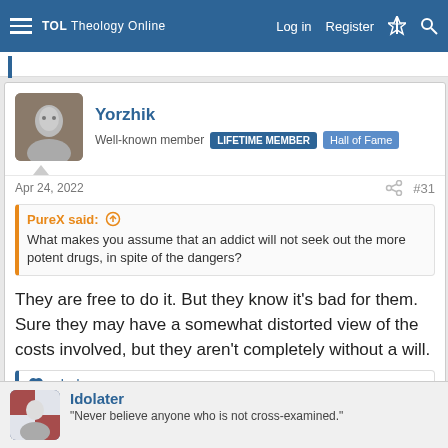TOL Theology Online — Log in  Register
Yorzhik
Well-known member  LIFETIME MEMBER  Hall of Fame
Apr 24, 2022  #31
PureX said:
What makes you assume that an addict will not seek out the more potent drugs, in spite of the dangers?
They are free to do it. But they know it's bad for them. Sure they may have a somewhat distorted view of the costs involved, but they aren't completely without a will.
ok doser
Idolater
"Never believe anyone who is not cross-examined."